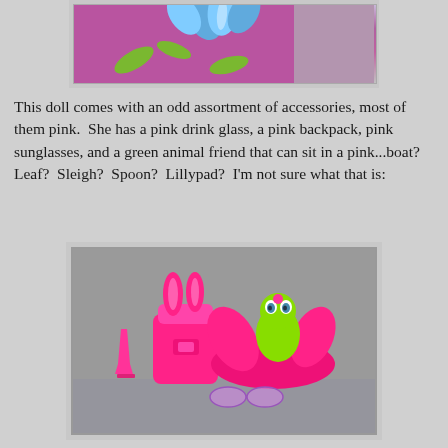[Figure (photo): Top portion of a doll with blue flower hair and pink floral dress visible at the top of the page]
This doll comes with an odd assortment of accessories, most of them pink.  She has a pink drink glass, a pink backpack, pink sunglasses, and a green animal friend that can sit in a pink...boat?  Leaf?  Sleigh?  Spoon?  Lillypad?  I'm not sure what that is:
[Figure (photo): Photo of doll accessories on gray background: a small pink drink glass, a pink backpack with bunny ears, a pink boat/leaf-shaped vessel with a small green lizard/animal figure sitting in it, and purple/clear sunglasses in front]